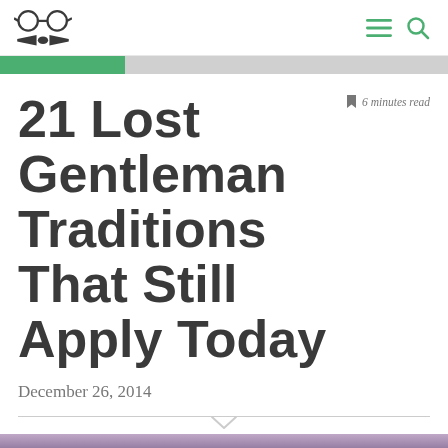[Logo: glasses and bow tie icon] [Menu icon] [Search icon]
[Figure (infographic): Green and grey progress bar]
6 minutes read
21 Lost Gentleman Traditions That Still Apply Today
December 26, 2014
[Figure (photo): Partial photo at bottom of page, dark purple/indigo tones showing a person in formal setting]